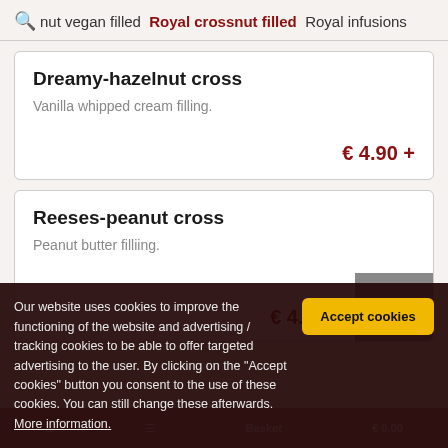nut vegan filled   Royal crossnut filled   Royal infusions
Dreamy-hazelnut cross
Vanilla whipped cream filling.
€ 4.90 +
Reeses-peanut cross
Peanut butter filliing.
€ 4.90 +
Our website uses cookies to improve the functioning of the website and advertising / tracking cookies to be able to offer targeted advertising to the user. By clicking on the "Accept cookies" button you consent to the use of these cookies. You can still change these afterwards. More information.